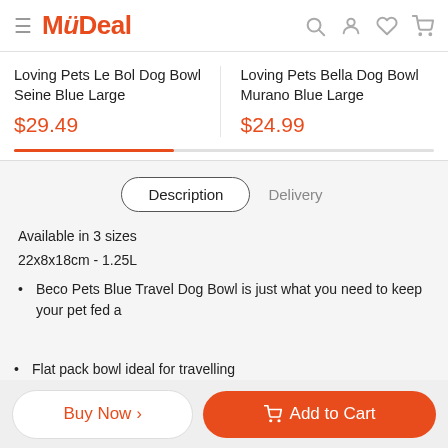MyDeal
Loving Pets Le Bol Dog Bowl Seine Blue Large
$29.49
Loving Pets Bella Dog Bowl Murano Blue Large
$24.99
Description   Delivery
Available in 3 sizes
22x8x18cm - 1.25L
Beco Pets Blue Travel Dog Bowl is just what you need to travel and keep your pet fed and watered
Flat pack bowl ideal for travelling
Buy Now >   Add to Cart